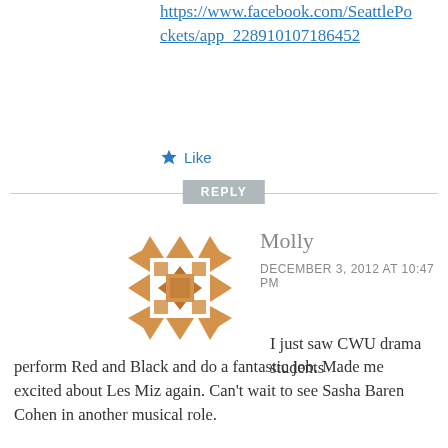https://www.facebook.com/SeattlePockets/app_228910107186452
★ Like
REPLY
[Figure (illustration): Decorative geometric avatar icon made of orange/tan triangles and squares arranged in a circular pattern]
Molly
DECEMBER 3, 2012 AT 10:47 PM
I just saw CWU drama students perform Red and Black and do a fantastic job. Made me excited about Les Miz again. Can't wait to see Sasha Baren Cohen in another musical role.